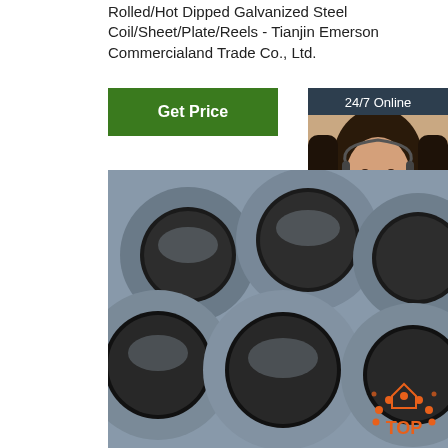Rolled/Hot Dipped Galvanized Steel Coil/Sheet/Plate/Reels - Tianjin Emerson Commercialand Trade Co., Ltd.
[Figure (other): Green 'Get Price' button]
[Figure (other): Sidebar widget with '24/7 Online' header, photo of woman with headset, 'Click here for free chat!' text, and orange QUOTATION button]
[Figure (photo): Stack of large metallic steel pipes/tubes viewed from the end, showing circular cross-sections]
[Figure (logo): TOP badge/logo in bottom right with orange dot pattern forming an arch]